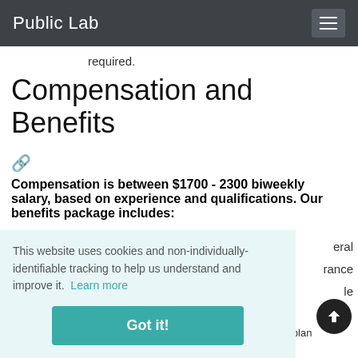Public Lab
required.
Compensation and Benefits
Compensation is between $1700 - 2300 biweekly salary, based on experience and qualifications. Our benefits package includes:
This website uses cookies and non-individually-identifiable tracking to help us understand and improve it. Learn more
eral
rance
le
Employer-paid contribution towards 401(k) plan after three months of employment